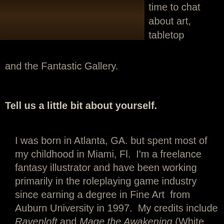[Figure (photo): Partial view of a person's face/head against dark background, cropped at top of page]
time to chat about art, tabletop
and the Fantastic Gallery.
Tell us a little bit about yourself.
I was born in Atlanta, GA. but spent most of my childhood in Miami, Fl.  I'm a freelance fantasy illustrator and have been working primarily in the roleplaying game industry since earning a degree in Fine Art  from Auburn University in 1997.  My credits include Ravenloft and Mage the Awakening (White Wolf), the Star Wars Roleplaying Game (West End Games and Wizards of the Coast), Kingdoms of Kalamar and Knights of the Dinner Table (Kenzer & Co.), Mutants